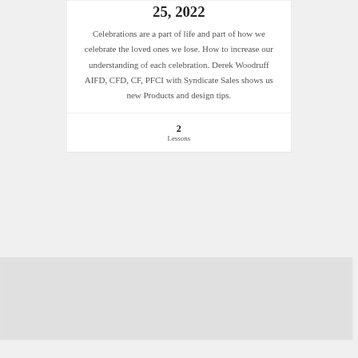25, 2022
Celebrations are a part of life and part of how we celebrate the loved ones we lose. How to increase our understanding of each celebration. Derek Woodruff AIFD, CFD, CF, PFCI with Syndicate Sales shows us new Products and design tips.
2
Lessons
[Figure (other): Gray image placeholder area at the bottom of the page]